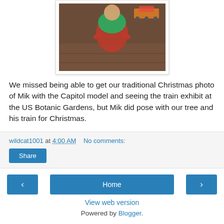[Figure (photo): Photo of a child in Christmas pajamas sitting on a wood floor near a train set, partially visible at top of page]
We missed being able to get our traditional Christmas photo of Mik with the Capitol model and seeing the train exhibit at the US Botanic Gardens, but Mik did pose with our tree and his train for Christmas.
wildcat1001 at 4:00 AM   No comments:
Share
‹  Home  ›
View web version
Powered by Blogger.